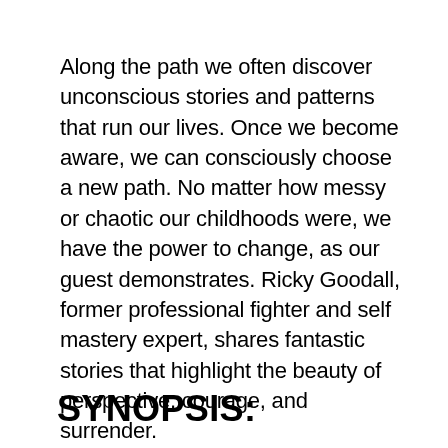Along the path we often discover unconscious stories and patterns that run our lives. Once we become aware, we can consciously choose a new path. No matter how messy or chaotic our childhoods were, we have the power to change, as our guest demonstrates. Ricky Goodall, former professional fighter and self mastery expert, shares fantastic stories that highlight the beauty of perspective, courage, and surrender.
SYNOPSIS: